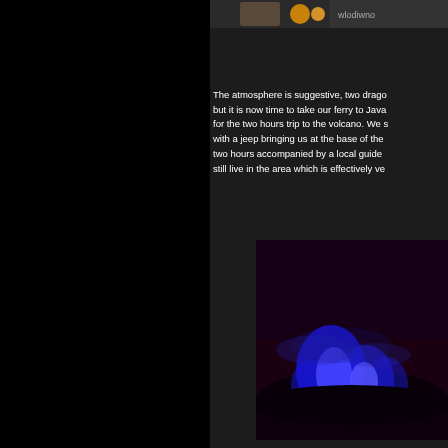[Figure (photo): Partial view of a colorful image at the top right, showing what appears to be flowers or decorative objects with text partially visible on the right edge]
The atmosphere is suggestive, two drago but it is now time to take our ferry to Java for the two hours trip to the volcano. We s with a jeep bringing us at the base of the two hours accompanied by a local guide still live in the area which is effectively ve
[Figure (photo): Night photograph showing glowing blue flames/lava from a volcano, likely Ijen volcano in Java, Indonesia, with blue sulfuric fire visible in the darkness]